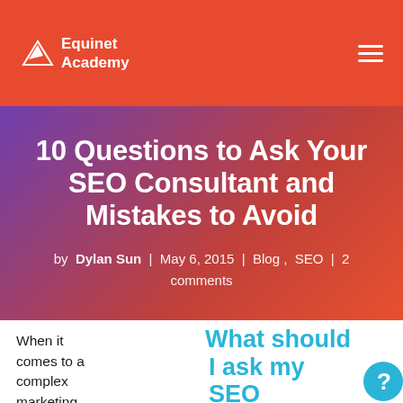Equinet Academy
10 Questions to Ask Your SEO Consultant and Mistakes to Avoid
by Dylan Sun | May 6, 2015 | Blog, SEO | 2 comments
When it comes to a complex marketing medium like
[Figure (illustration): Decorative text graphic reading 'What should I ask my SEO' in teal/cyan bold letters with a teal question mark bubble illustration]